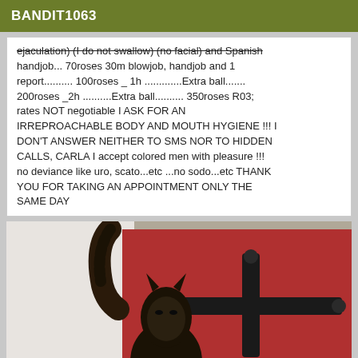BANDIT1063
ejaculation) (I do not swallow) (no facial) and Spanish handjob... 70roses 30m blowjob, handjob and 1 report.......... 100roses _ 1h .............Extra ball....... 200roses _2h ..........Extra ball.......... 350roses R03; rates NOT negotiable I ASK FOR AN IRREPROACHABLE BODY AND MOUTH HYGIENE !!! I DON'T ANSWER NEITHER TO SMS NOR TO HIDDEN CALLS, CARLA I accept colored men with pleasure !!! no deviance like uro, scato...etc ...no sodo...etc THANK YOU FOR TAKING AN APPOINTMENT ONLY THE SAME DAY
[Figure (photo): Photo of a person wearing a black mask, with one arm raised, standing against a red wall with black metal hardware]